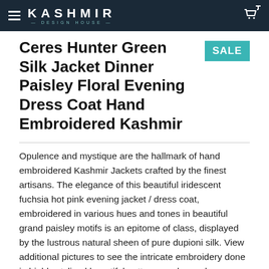KASHMIR DESIGN HOUSE
Ceres Hunter Green Silk Jacket Dinner Paisley Floral Evening Dress Coat Hand Embroidered Kashmir
Opulence and mystique are the hallmark of hand embroidered Kashmir Jackets crafted by the finest artisans. The elegance of this beautiful iridescent fuchsia hot pink evening jacket / dress coat, embroidered in various hues and tones in beautiful grand paisley motifs is an epitome of class, displayed by the lustrous natural sheen of pure dupioni silk. View additional pictures to see the intricate embroidery done in highly stylized beautiful patterns and superb craftsmanship unparalleled in the whole world. Embellished with hand-embroidered rich colors, with inspired creativity and impeccable craftsmanship, these dinner or wedding jackets exude the royal elegance and regal decadence of the Victorian era. Details of the Jacket: Collar Shoulder Sleeve Bust Waist Hip Length 15.5' Inch (39 cms) 17'